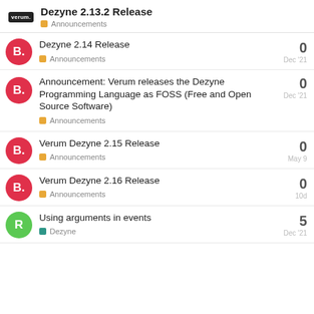Dezyne 2.13.2 Release | Announcements
Dezyne 2.14 Release — Announcements — 0 replies — Dec '21
Announcement: Verum releases the Dezyne Programming Language as FOSS (Free and Open Source Software) — Announcements — 0 replies — Dec '21
Verum Dezyne 2.15 Release — Announcements — 0 replies — May 9
Verum Dezyne 2.16 Release — Announcements — 0 replies — 10d
Using arguments in events — Dezyne — 5 replies — Dec '21